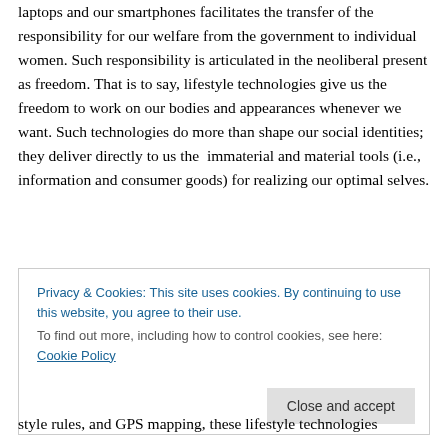laptops and our smartphones facilitates the transfer of the responsibility for our welfare from the government to individual women. Such responsibility is articulated in the neoliberal present as freedom. That is to say, lifestyle technologies give us the freedom to work on our bodies and appearances whenever we want. Such technologies do more than shape our social identities; they deliver directly to us the  immaterial and material tools (i.e., information and consumer goods) for realizing our optimal selves.
Privacy & Cookies: This site uses cookies. By continuing to use this website, you agree to their use.
To find out more, including how to control cookies, see here: Cookie Policy
style rules, and GPS mapping, these lifestyle technologies